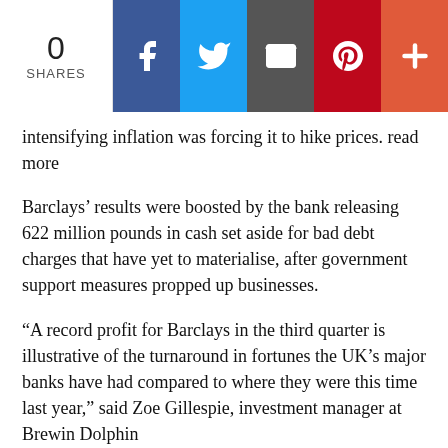0 SHARES | Share buttons: Facebook, Twitter, Email, Pinterest, More
intensifying inflation was forcing it to hike prices. read more
Barclays’ results were boosted by the bank releasing 622 million pounds in cash set aside for bad debt charges that have yet to materialise, after government support measures propped up businesses.
“A record profit for Barclays in the third quarter is illustrative of the turnaround in fortunes the UK’s major banks have had compared to where they were this time last year,” said Zoe Gillespie, investment manager at Brewin Dolphin
The provision release comes despite a turbulent period for the British economy, with supply chain disruptions and fuel shortages that flared up in September denting